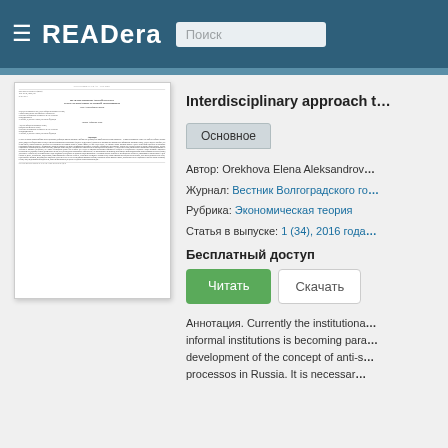READera — Поиск
[Figure (screenshot): Preview thumbnail of a Russian academic article titled МЕЖДИСЦИПЛИНАРНЫЙ ПОДХОД К ИССЛЕДОВАНИЮ ТЕНЕВОЙ ЭКОНОМИКИ from journal Вестник Волгоградского государственного университета]
Interdisciplinary approach t...
Основное
Автор: Orekhova Elena Aleksandrova
Журнал: Вестник Волгоградского го...
Рубрика: Экономическая теория
Статья в выпуске: 1 (34), 2016 года
Бесплатный доступ
Читать   Скачать
Аннотация. Currently the institutional... informal institutions is becoming para... development of the concept of anti-s... processos in Russia. It is necessar...